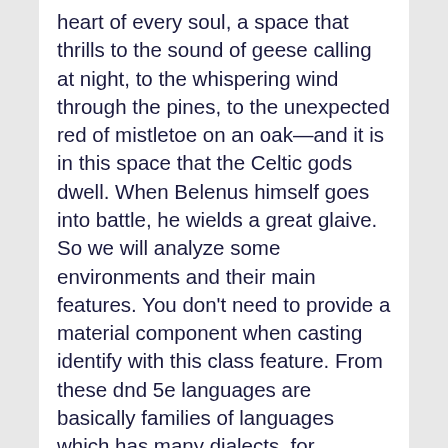heart of every soul, a space that thrills to the sound of geese calling at night, to the whispering wind through the pines, to the unexpected red of mistletoe on an oak—and it is in this space that the Celtic gods dwell. When Belenus himself goes into battle, he wields a great glaive. So we will analyze some environments and their main features. You don't need to provide a material component when casting identify with this class feature. From these dnd 5e languages are basically families of languages which has many dialects, for instance the primordial language has included the Terran dialects, Auran, Aquan, Ignan and one for each of the four elemental planes.The creatures which has the knowledge to speak in different dialects of the similar language can communicate